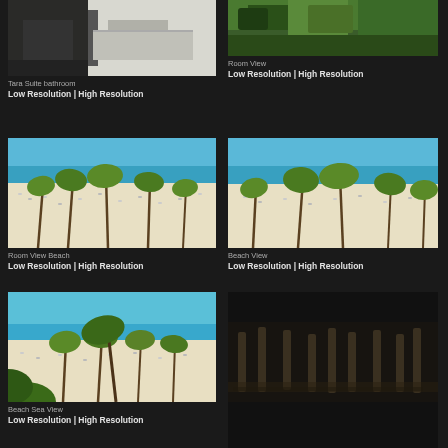[Figure (photo): Tara Suite bathroom interior with dark wood vanity and white tiles]
Tara Suite bathroom
Low Resolution | High Resolution
[Figure (photo): Room view with tropical greenery outside]
Room View
Low Resolution | High Resolution
[Figure (photo): Beach view with palm trees, white sand and turquoise sea from room]
Room View Beach
Low Resolution | High Resolution
[Figure (photo): Beach view with palm trees bending in wind and white sand]
Beach View
Low Resolution | High Resolution
[Figure (photo): Beach sea view with palm trees and loungers on white sand beach]
Beach Sea View
Low Resolution | High Resolution